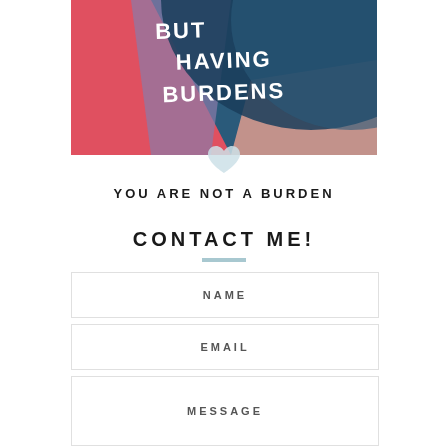[Figure (illustration): Colorful abstract artwork with overlapping shapes in red, coral, teal, navy, and lavender. White hand-lettered text partially visible reading 'BUT HAVING BURDENS']
YOU ARE NOT A BURDEN
CONTACT ME!
NAME
EMAIL
MESSAGE